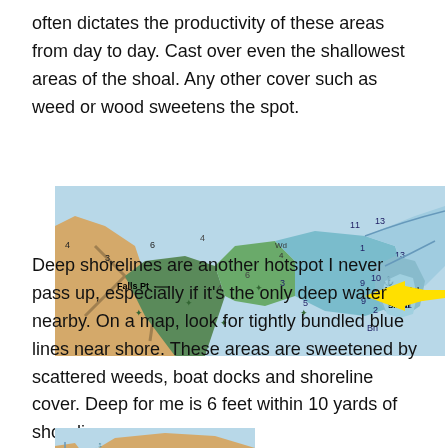often dictates the productivity of these areas from day to day. Cast over even the shallowest areas of the shoal. Any other cover such as weed or wood sweetens the spot.
[Figure (map): Nautical/lake map showing Falls Pt, Long Point Shoal area with depth numbers (2, 3, 4, 5, 6, 9, 10, 11, 13), colored regions (tan for land, green and blue for water areas), and a yellow arrow pointing to 'Long Poi Shoal' label.]
Deep shorelines are another hotspot I never pass up, especially if it's the only deep water nearby. On a map, look for tightly bundled blue lines near shore. These areas are sweetened by scattered weeds, boat docks and shoreline cover. Deep for me is 6 feet within 10 yards of shoreline.
[Figure (map): Partial bottom map showing tan land area with a small blue water region, partially visible at the bottom of the page.]